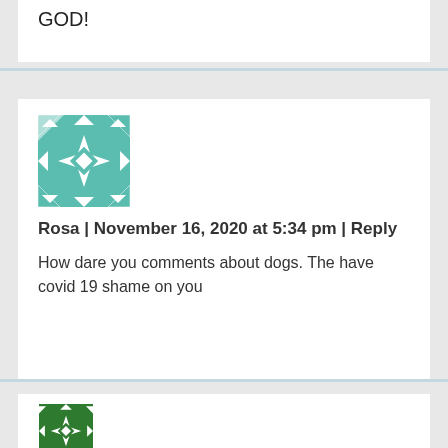GOD!
[Figure (illustration): Teal geometric quilt-pattern avatar for user Rosa]
Rosa | November 16, 2020 at 5:34 pm | Reply
How dare you comments about dogs. The have covid 19 shame on you
[Figure (illustration): Dark green geometric quilt-pattern avatar for user Dimwitf***]
Dimwitf*** | November 16, 2020 at 5:35 pm | Reply